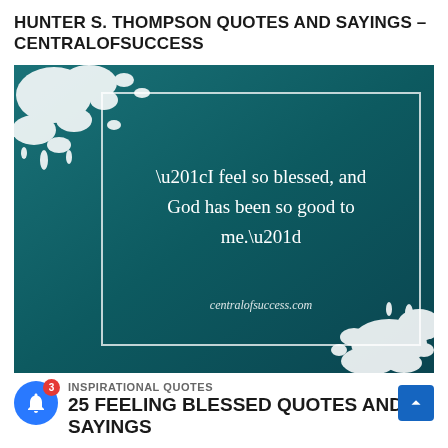HUNTER S. THOMPSON QUOTES AND SAYINGS – CENTRALOFSUCCESS
[Figure (illustration): Teal/dark teal background quote card with white paint splash decorations in top-left and bottom-right corners, a white-bordered inner rectangle, and centered white serif text reading: “I feel so blessed, and God has been so good to me.” with centralofsuccess.com credit below.]
INSPIRATIONAL QUOTES
25 FEELING BLESSED QUOTES AND SAYINGS